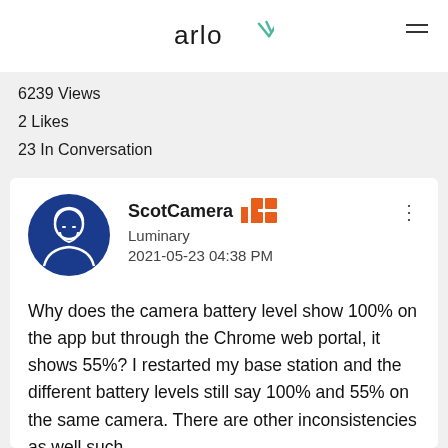arlo
6239 Views
2 Likes
23 In Conversation
[Figure (illustration): User avatar: blue circle with white line-art illustration of a bearded person]
ScotCamera Luminary 2021-05-23 04:38 PM
Why does the camera battery level show 100% on the app but through the Chrome web portal, it shows 55%? I restarted my base station and the different battery levels still say 100% and 55% on the same camera. There are other inconsistencies as well such